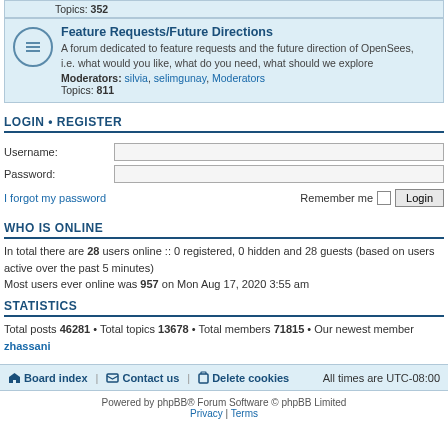Topics: 352
Feature Requests/Future Directions
A forum dedicated to feature requests and the future direction of OpenSees, i.e. what would you like, what do you need, what should we explore
Moderators: silvia, selimgunay, Moderators
Topics: 811
LOGIN • REGISTER
Username:
Password:
I forgot my password    Remember me    Login
WHO IS ONLINE
In total there are 28 users online :: 0 registered, 0 hidden and 28 guests (based on users active over the past 5 minutes)
Most users ever online was 957 on Mon Aug 17, 2020 3:55 am
STATISTICS
Total posts 46281 • Total topics 13678 • Total members 71815 • Our newest member zhassani
Board index  Contact us  Delete cookies  All times are UTC-08:00
Powered by phpBB® Forum Software © phpBB Limited
Privacy | Terms